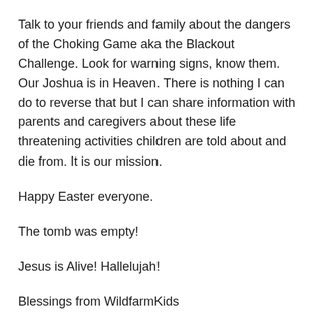Talk to your friends and family about the dangers of the Choking Game aka the Blackout Challenge. Look for warning signs, know them. Our Joshua is in Heaven. There is nothing I can do to reverse that but I can share information with parents and caregivers about these life threatening activities children are told about and die from. It is our mission.
Happy Easter everyone.
The tomb was empty!
Jesus is Alive! Hallelujah!
Blessings from WildfarmKids
If you have not asked Jesus to come into your life and be your Savior below is a simple version of the Salvation